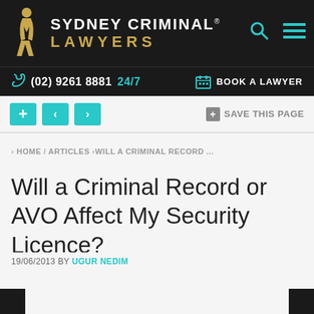SYDNEY CRIMINAL® LAWYERS
(02) 9261 8881 24/7  BOOK A LAWYER
[Figure (screenshot): Toolbar with plus button, left arrow, right arrow navigation buttons in teal, and SAVE THIS PAGE button]
HOME / ARTICLES / WILL A CRIMINAL RECORD ...
Will a Criminal Record or AVO Affect My Security Licence?
19/06/2013 BY UGUR NEDIM